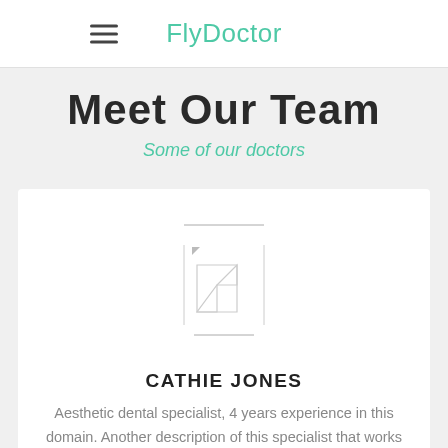FlyDoctor
Meet Our Team
Some of our doctors
[Figure (photo): Placeholder image for doctor photo with broken image icon]
CATHIE JONES
Aesthetic dental specialist, 4 years experience in this domain. Another description of this specialist that works on FlyDoctor.